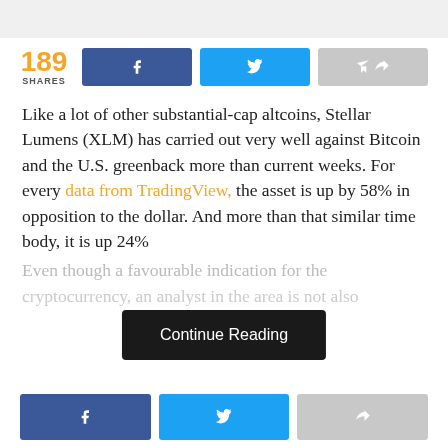[Figure (other): Gray top banner bar]
189 SHARES
Like a lot of other substantial-cap altcoins, Stellar Lumens (XLM) has carried out very well against Bitcoin and the U.S. greenback more than current weeks. For every data from TradingView, the asset is up by 58% in opposition to the dollar. And more than that similar time body, it is up 24%...
Even though a favourable indication for the cryptocurrency, an analyst in the area is not also...
Continue Reading